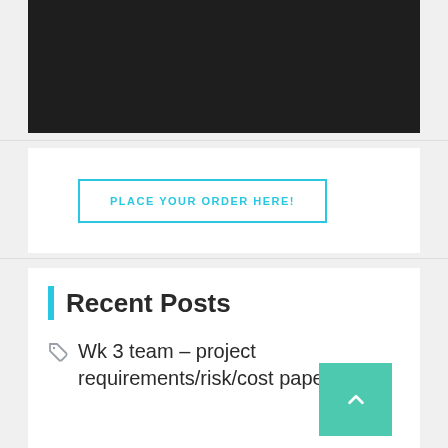[Figure (other): Dark banner/video placeholder area at the top of the page]
PLACE YOUR ORDER HERE!
Recent Posts
Wk 3 team – project requirements/risk/cost paper |